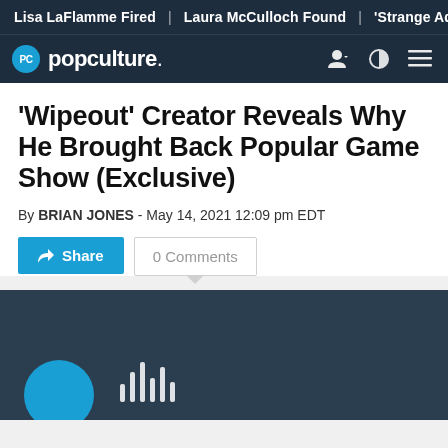Lisa LaFlamme Fired | Laura McCulloch Found | 'Strange Adv
popculture.
'Wipeout' Creator Reveals Why He Brought Back Popular Game Show (Exclusive)
By BRIAN JONES - May 14, 2021 12:09 pm EDT
Share | 0 Comments
[Figure (screenshot): Video player placeholder showing dark blue background with a blue circle avatar and audio waveform bars at the bottom]